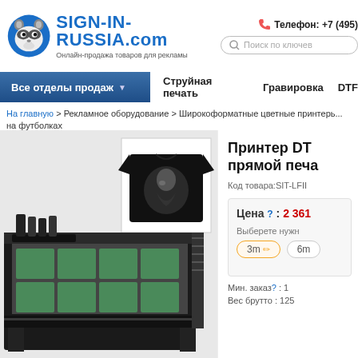[Figure (logo): SIGN-IN-RUSSIA.com logo with raccoon mascot and tagline Онлайн-продажа товаров для рекламы]
Телефон: +7 (495)
Поиск по ключев...
Все отделы продаж ▼   Струйная печать   Гравировка   DTF
На главную > Рекламное оборудование > Широкоформатные цветные принтеры > ... на футболках
[Figure (photo): Large industrial flatbed DTG printer with green printing beds]
[Figure (photo): Black t-shirt with artistic portrait print]
Принтер DTG прямой печа...
Код товара:SIT-LFII...
Цена ?: 2 361...
Выберете нужн...
3m  6m
Мин. заказ?: 1...
Вес брутто: 125...